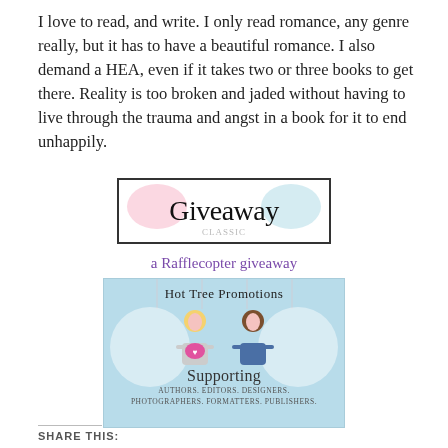I love to read, and write. I only read romance, any genre really, but it has to have a beautiful romance. I also demand a HEA, even if it takes two or three books to get there. Reality is too broken and jaded without having to live through the trauma and angst in a book for it to end unhappily.
[Figure (illustration): Giveaway banner image with pink and teal blobs and the word Giveaway in cursive font, inside a black-bordered rectangle]
a Rafflecopter giveaway
[Figure (illustration): Hot Tree Promotions logo: light blue background with two cartoon women (one blonde, one brunette) sitting at a laptop, speech bubbles, vertical lines at top, text 'Hot Tree Promotions' at top and 'Supporting AUTHORS. EDITORS. DESIGNERS. PHOTOGRAPHERS. FORMATTERS. PUBLISHERS.' at bottom]
SHARE THIS: